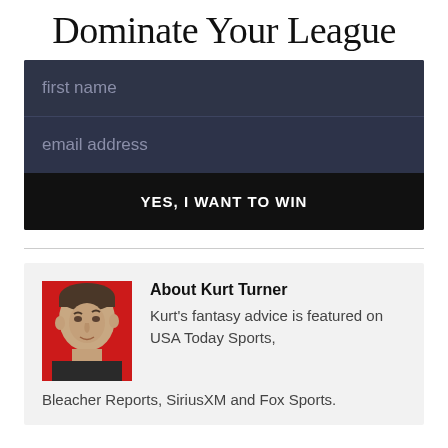Dominate Your League
[Figure (screenshot): A web form with dark navy background containing two input fields labeled 'first name' and 'email address', and a black submit button labeled 'YES, I WANT TO WIN']
[Figure (photo): Author bio section with a photo of Kurt Turner against a red background, with text 'About Kurt Turner' and bio text: Kurt's fantasy advice is featured on USA Today Sports, Bleacher Reports, SiriusXM and Fox Sports.]